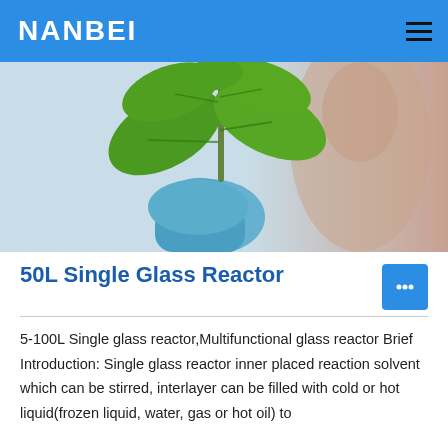NANBEI
[Figure (photo): A person in blue gloves holding a green plant with large leaves against a light blue background, with a blurred person in the background.]
50L Single Glass Reactor
5-100L Single glass reactor,Multifunctional glass reactor Brief Introduction: Single glass reactor inner placed reaction solvent which can be stirred, interlayer can be filled with cold or hot liquid(frozen liquid, water, gas or hot oil) to